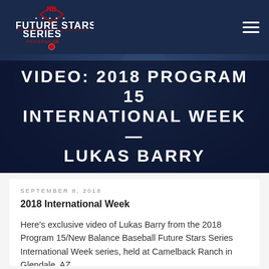[Figure (logo): New Balance Future Stars Series Program 15 logo on dark navy navigation bar]
[Figure (photo): Baseball player in blue uniform, blurred background, with dark overlay and large white title text: VIDEO: 2018 PROGRAM 15 INTERNATIONAL WEEK — LUKAS BARRY]
VIDEO: 2018 PROGRAM 15 INTERNATIONAL WEEK — LUKAS BARRY
SEPTEMBER 8, 2018
2018 International Week
Here's exclusive video of Lukas Barry from the 2018 Program 15/New Balance Baseball Future Stars Series International Week series, held at Camelback Ranch in Glendale, AZ...